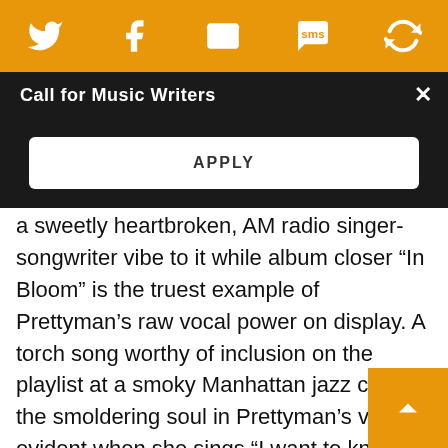[Figure (screenshot): Orange social media toolbar with Twitter, Facebook, email, SMS, and sync icons]
Call for Music Writers
APPLY
a sweetly heartbroken, AM radio singer-songwriter vibe to it while album closer “In Bloom” is the truest example of Prettyman’s raw vocal power on display. A torch song worthy of inclusion on the playlist at a smoky Manhattan jazz club, the smoldering soul in Prettyman’s voice is evident when she sings “I want to know what you’re thinking when you’re lying in your bed late at night.”